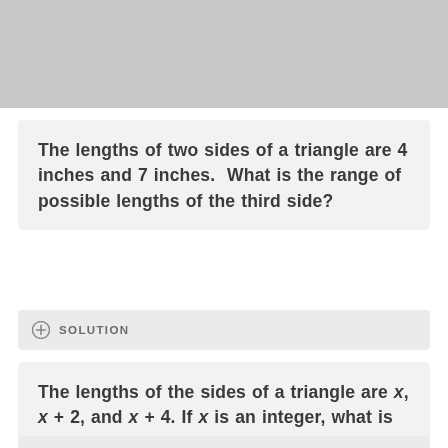The lengths of two sides of a triangle are 4 inches and 7 inches. What is the range of possible lengths of the third side?
SOLUTION
The lengths of the sides of a triangle are x, x + 2, and x + 4. If x is an integer, what is the range of possible values of x?